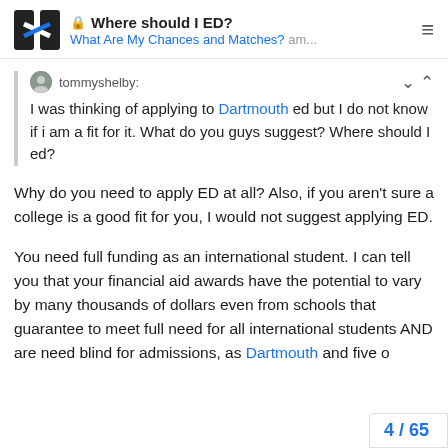Where should I ED? | What Are My Chances and Matches? am...
tommyshelby: I was thinking of applying to Dartmouth ed but I do not know if i am a fit for it. What do you guys suggest? Where should I ed?
Why do you need to apply ED at all? Also, if you aren't sure a college is a good fit for you, I would not suggest applying ED.
You need full funding as an international student. I can tell you that your financial aid awards have the potential to vary by many thousands of dollars even from schools that guarantee to meet full need for all international students AND are need blind for admissions, as Dartmouth and five o
4 / 65